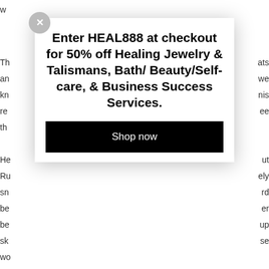Th... ats an... we kn... nis re... ee th...
He... ut Ru... ely sn... rd be... er be... up sk... se wo...
Th...
*/
[Figure (other): Modal popup with promotional text: 'Enter HEAL888 at checkout for 50% off Healing Jewelry & Talismans, Bath/ Beauty/Self-care, & Business Success Services.' with a 'Shop now' button and a close X button.]